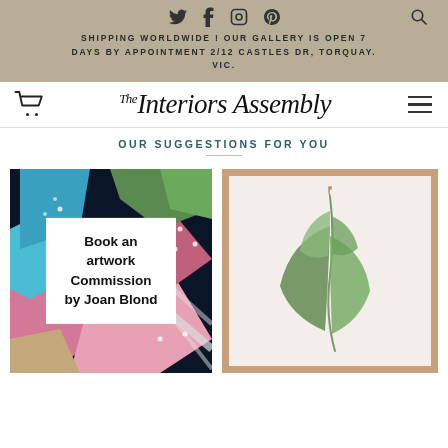SHIPPING WORLDWIDE ! OUR GALLERY IS OPEN 7 DAYS BY APPOINTMENT 2/12 CASTLES DR, TORQUAY. VIC.
[Figure (logo): The Interiors Assembly logo with cart icon and hamburger menu]
OUR SUGGESTIONS FOR YOU
[Figure (photo): Colorful abstract artwork with text overlay: Book an artwork Commission by Joan Blond]
[Figure (photo): Botanical print of eucalyptus leaves on cream background, framed in natural wood]